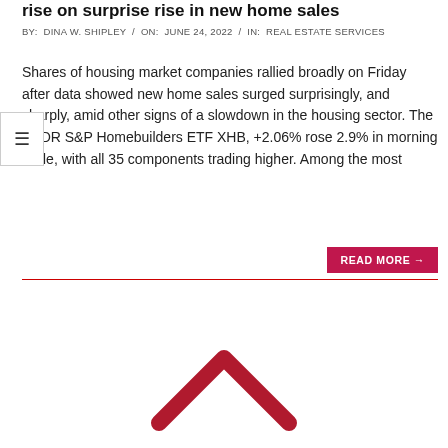rise on surprise rise in new home sales
BY: DINA W. SHIPLEY / ON: JUNE 24, 2022 / IN: REAL ESTATE SERVICES
Shares of housing market companies rallied broadly on Friday after data showed new home sales surged surprisingly, and sharply, amid other signs of a slowdown in the housing sector. The SPDR S&P Homebuilders ETF XHB, +2.06% rose 2.9% in morning trade, with all 35 components trading higher. Among the most
[Figure (illustration): Red house rooftop icon (chevron/roof shape) in the lower center of the page]